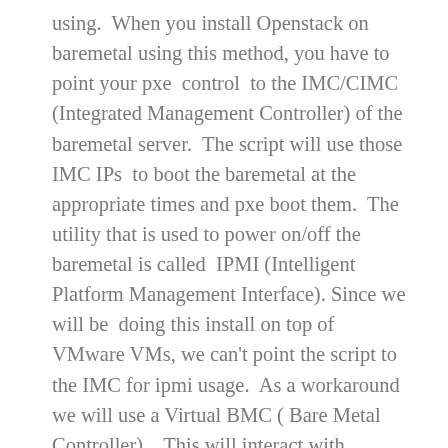using.  When you install Openstack on baremetal using this method, you have to point your pxe  control  to the IMC/CIMC (Integrated Management Controller) of the baremetal server.  The script will use those IMC IPs  to boot the baremetal at the appropriate times and pxe boot them.  The utility that is used to power on/off the baremetal is called  IPMI (Intelligent Platform Management Interface). Since we will be  doing this install on top of VMware VMs, we can't point the script to the IMC for ipmi usage.  As a workaround we will use a Virtual BMC ( Bare Metal Controller).   This will interact with vCenter to fool the system to think that it's using IMC. The ipmi commands to power up/down  the VMs will then get sent to the vCenter who will take the appropriate action.  I have the docker-